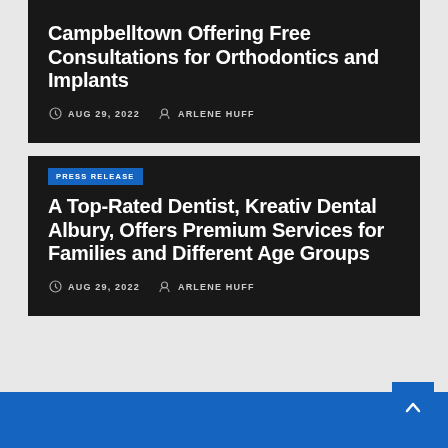Campbelltown Offering Free Consultations for Orthodontics and Implants
AUG 29, 2022  ARLENE HUFF
PRESS RELEASE
A Top-Rated Dentist, Kreativ Dental Albury, Offers Premium Services for Families and Different Age Groups
AUG 29, 2022  ARLENE HUFF